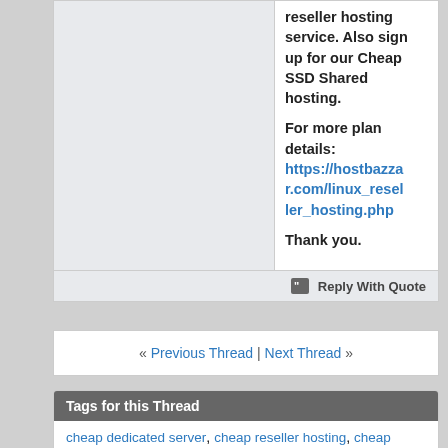reseller hosting service. Also sign up for our Cheap SSD Shared hosting.

For more plan details: https://hostbazzar.com/linux_reseller_hosting.php

Thank you.
Reply With Quote
« Previous Thread | Next Thread »
Tags for this Thread
cheap dedicated server, cheap reseller hosting, cheap windows hosting, lifetime free hosting, linux reseller hosting
View Tag Cloud